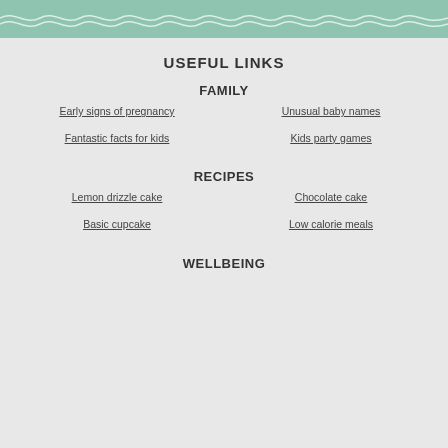USEFUL LINKS
FAMILY
Early signs of pregnancy
Unusual baby names
Fantastic facts for kids
Kids party games
RECIPES
Lemon drizzle cake
Chocolate cake
Basic cupcake
Low calorie meals
WELLBEING